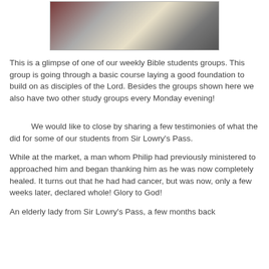[Figure (photo): Photo of people seated around a table during a Bible study group session]
This is a glimpse of one of our weekly Bible students groups. This group is going through a basic course laying a good foundation to build on as disciples of the Lord. Besides the groups shown here we also have two other study groups every Monday evening!
We would like to close by sharing a few testimonies of what the did for some of our students from Sir Lowry's Pass.
While at the market, a man whom Philip had previously ministered to approached him and began thanking him as he was now completely healed. It turns out that he had had cancer, but was now, only a few weeks later, declared whole! Glory to God!
An elderly lady from Sir Lowry's Pass, a few months back